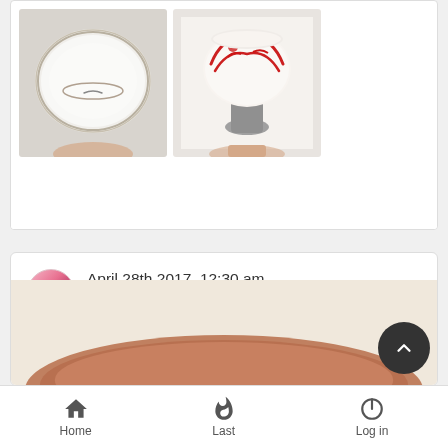[Figure (photo): Two pottery bowls - one showing inside of a white ceramic bowl held by hand, another showing decorated red/black patterned bowl on a pedestal base held by hand]
April 28th 2017, 12:30 am
by NaomiM
Beth Rohman, Journeys End Pottery, Los Angeles, California
[Figure (photo): Partial view of a ceramic pottery piece with brown/tan coloring against a light beige background]
Home  Last  Log in